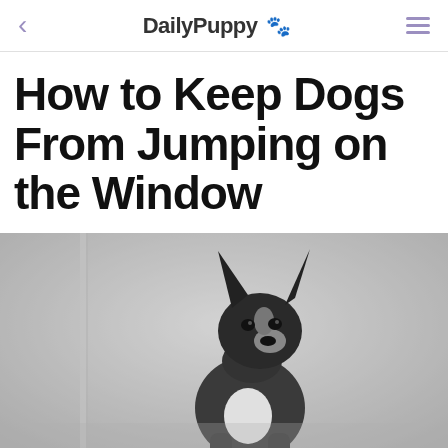DailyPuppy 🐾
How to Keep Dogs From Jumping on the Window
[Figure (photo): Black and white photograph of a dog (Bull Terrier type) sitting and facing the camera near a window]